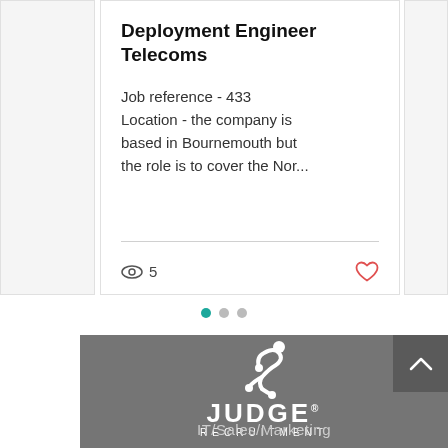Deployment Engineer Telecoms
Job reference - 433
Location - the company is based in Bournemouth but the role is to cover the Nor...
5
[Figure (logo): Judge Recruitment logo with stylized figure icon, company name JUDGE RECRUITMENT in white text on grey background, with tagline IT/Sales/Marketing]
IT/Sales/Marketing